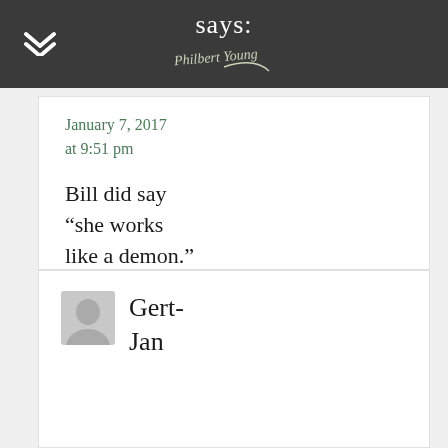says:
January 7, 2017 at 9:51 pm
Bill did say “she works like a demon.”
Reply
Gert-Jan